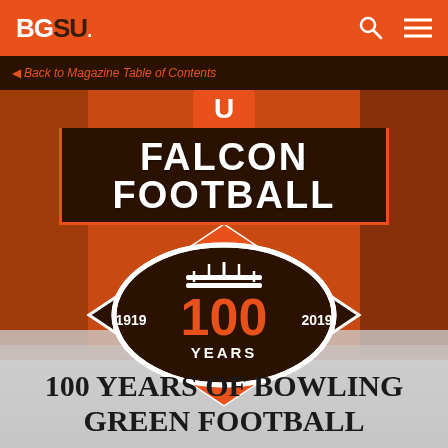BGSU
Back to Magazine Table of Contents
[Figure (illustration): Falcon Football 100 Years logo badge showing a football with '100' in orange, '1919' on left, '2019' on right, 'YEARS' below, on a brown diamond background with 'FALCON FOOTBALL' banner above, overlaid on collage of historical football photos]
100 YEARS OF BOWLING GREEN FOOTBALL